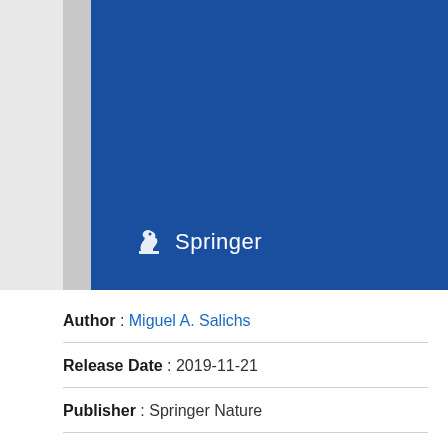[Figure (illustration): Springer book cover — solid blue rectangle with a gray spine on the left and the Springer logo (chess knight icon + 'Springer' text in white) in the lower-left area of the blue cover.]
Author : Miguel A. Salichs
Release Date : 2019-11-21
Publisher : Springer Nature